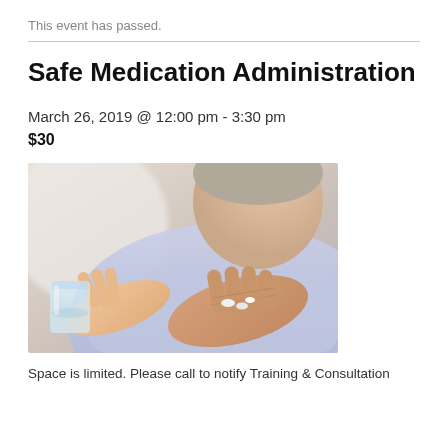This event has passed.
Safe Medication Administration
March 26, 2019 @ 12:00 pm - 3:30 pm
$30
[Figure (photo): An elderly woman receiving pills placed into her open palm by a caregiver who holds a glass of water in the other hand.]
Space is limited. Please call to notify Training & Consultation